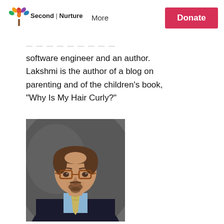Second Nurture | More | Donate
software engineer and an author. Lakshmi is the author of a blog on parenting and of the children's book, "Why Is My Hair Curly?"
[Figure (photo): Professional headshot of a middle-aged man with glasses, goatee, wearing a dark suit and light blue shirt with a striped tie, against a gray background.]